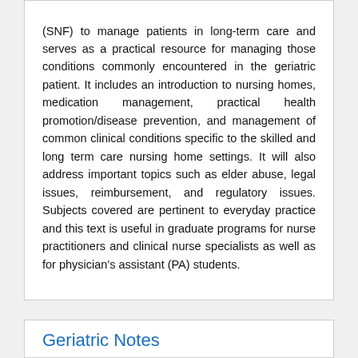(SNF) to manage patients in long-term care and serves as a practical resource for managing those conditions commonly encountered in the geriatric patient. It includes an introduction to nursing homes, medication management, practical health promotion/disease prevention, and management of common clinical conditions specific to the skilled and long term care nursing home settings. It will also address important topics such as elder abuse, legal issues, reimbursement, and regulatory issues. Subjects covered are pertinent to everyday practice and this text is useful in graduate programs for nurse practitioners and clinical nurse specialists as well as for physician's assistant (PA) students.
Geriatric Notes